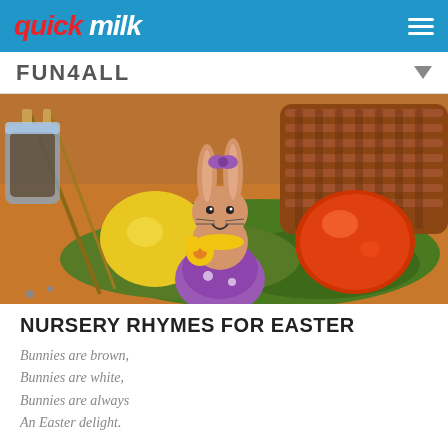quick milk
FUN4ALL
[Figure (photo): Easter bunny figurine in a purple dress holding yellow flowers, surrounded by a red/orange Easter egg, green moss, a yellow disc, paint brushes, and a wicker basket in the background.]
NURSERY RHYMES FOR EASTER
Bunnies are brown,
Bunnies are white,
Bunnies are always
An Easter delight.

Bunnies are cuddly,